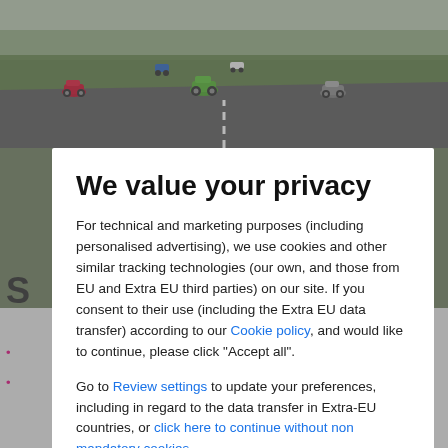[Figure (photo): Race track scene with multiple sports cars including a red Ferrari, green Lamborghini, and grey Porsche driving toward the camera on a circuit]
We value your privacy
For technical and marketing purposes (including personalised advertising), we use cookies and other similar tracking technologies (our own, and those from EU and Extra EU third parties) on our site. If you consent to their use (including the Extra EU data transfer) according to our Cookie policy, and would like to continue, please click "Accept all".
Go to Review settings to update your preferences, including in regard to the data transfer in Extra-EU countries, or click here to continue without non mandatory cookies.
ACCEPT ALL